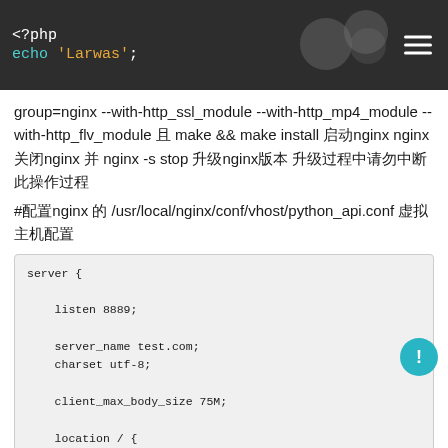<?php echo 'Larwas';
group=nginx --with-http_ssl_module --with-http_mp4_module --with-http_flv_module 且 make && make install 启动nginx nginx 关闭nginx 并 nginx -s stop 升级nginx版本 升级过程中请勿中断此操作过程
#配置nginx 的 /usr/local/nginx/conf/vhost/python_api.conf 虚拟主机配置
server {

    listen 8889;

    server_name test.com;
    charset utf-8;

    client_max_body_size 75M;

    location / {

        include uwsgi_params;                #